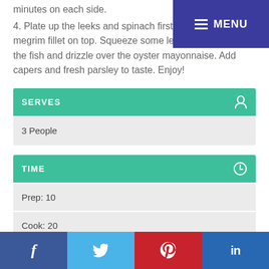minutes on each side.
4. Plate up the leeks and spinach first, with the whole megrim fillet on top. Squeeze some lemon the fish and drizzle over the oyster mayonnaise. Add capers and fresh parsley to taste. Enjoy!
| SERVES |  |
| --- | --- |
| 3 People |  |
| TIME |  |
| --- | --- |
| Prep: 10 |  |
| Cook: 20 |  |
| Ready in: 30 |  |
f  twitter  pinterest  in